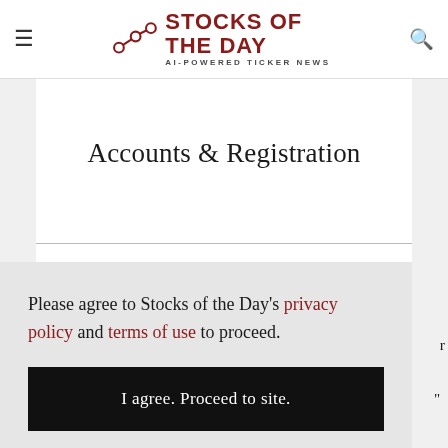≡  STOCKS OF THE DAY  AI-POWERED TICKER NEWS  🔍
Accounts & Registration
Password Reset  —
You may change your password from the Profile section of
Please agree to Stocks of the Day's privacy policy and terms of use to proceed.
I agree. Proceed to site.
button on the Customer Center and click on the "Lost